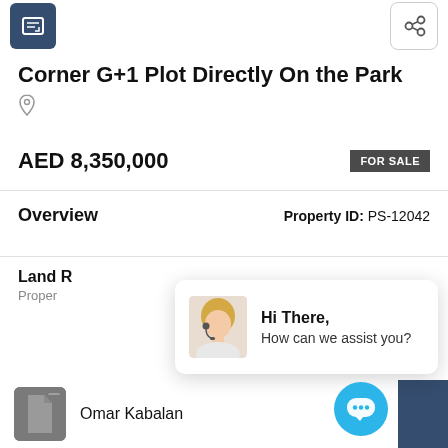Corner G+1 Plot Directly On the Park
AED 8,350,000
FOR SALE
Overview
Property ID: PS-12042
Land R
Proper
Hi There, How can we assist you?
Omar Kabalan